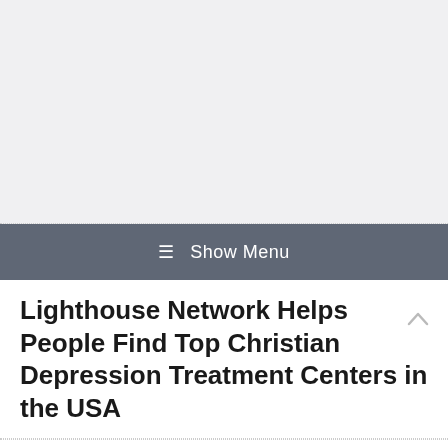[Figure (other): Gray banner/header area at the top of the page, likely an advertisement or logo placeholder]
≡ Show Menu
Lighthouse Network Helps People Find Top Christian Depression Treatment Centers in the USA
[Figure (other): Social media sharing icons: Facebook (f), Twitter (bird), Pinterest (p), Google+ (g+), LinkedIn (in)]